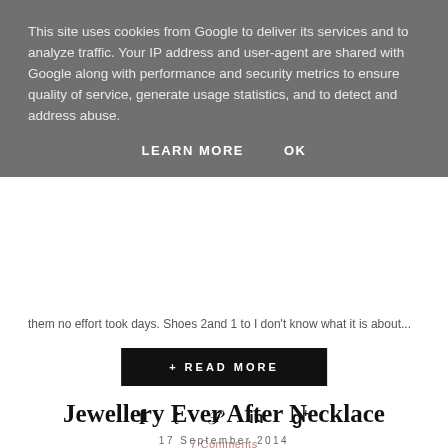This site uses cookies from Google to deliver its services and to analyze traffic. Your IP address and user-agent are shared with Google along with performance and security metrics to ensure quality of service, generate usage statistics, and to detect and address abuse.
LEARN MORE   OK
them no effort took days. Shoes 2and 1 to I don't know what it is about...
+ READ MORE
7 Comments
Jewellery Ever After Necklace
17 September 2014